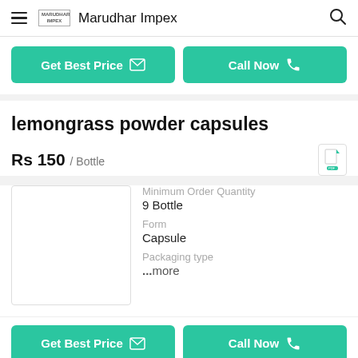Marudhar Impex
Get Best Price
Call Now
lemongrass powder capsules
Rs 150 / Bottle
Minimum Order Quantity
9 Bottle
Form
Capsule
Packaging type
...more
Get Best Price
Call Now